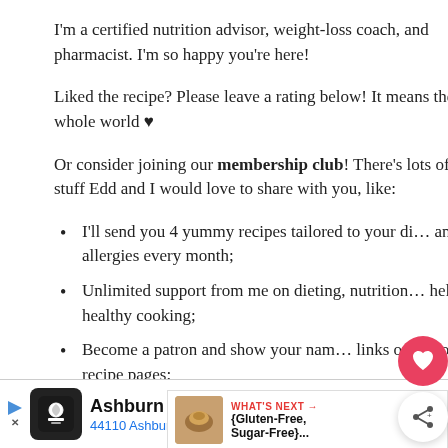I'm a certified nutrition advisor, weight-loss coach, and pharmacist. I'm so happy you're here!
Liked the recipe? Please leave a rating below! It means the whole world ♥
Or consider joining our membership club! There's lots of cool stuff Edd and I would love to share with you, like:
I'll send you 4 yummy recipes tailored to your di… and allergies every month;
Unlimited support from me on dieting, nutrition… help, or healthy cooking;
Become a patron and show your nam… links on top of our recipe pages;
And more!
Ashburn OPEN 8AM–10PM | 44110 Ashburn Shopping Plaza…